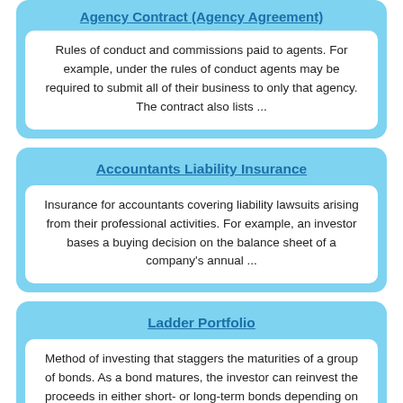Agency Contract (Agency Agreement)
Rules of conduct and commissions paid to agents. For example, under the rules of conduct agents may be required to submit all of their business to only that agency. The contract also lists ...
Accountants Liability Insurance
Insurance for accountants covering liability lawsuits arising from their professional activities. For example, an investor bases a buying decision on the balance sheet of a company's annual ...
Ladder Portfolio
Method of investing that staggers the maturities of a group of bonds. As a bond matures, the investor can reinvest the proceeds in either short- or long-term bonds depending on the interest ...